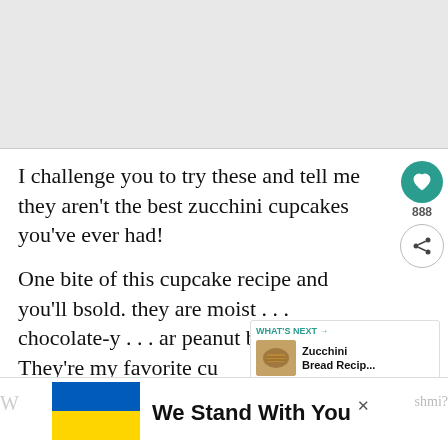[Figure (photo): Gray placeholder area representing a top image (cupcake photo cropped out of view)]
I challenge you to try these and tell me they aren't the best zucchini cupcakes you've ever had!
One bite of this cupcake recipe and you'll be sold. they are moist . . . chocolate-y . . . and peanut butter-y. They're my favorite cupcake ever!
[Figure (infographic): Bottom banner with Ukraine flag and 'We Stand With You' text, with a close X button]
We Stand With You